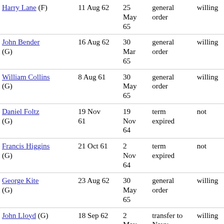| Name | Date | Date | Reason | Willing |
| --- | --- | --- | --- | --- |
| Harry Lane (F) | 11 Aug 62 | 25 May 65 | general order | willing |
| John Bender (G) | 16 Aug 62 | 30 Mar 65 | general order | willing |
| William Collins (G) | 8 Aug 61 | 30 May 65 | general order | willing |
| Daniel Foltz (G) | 19 Nov 61 | 19 Nov 64 | term expired | not |
| Francis Higgins (G) | 21 Oct 61 | 2 Nov 64 | term expired | not |
| George Kite (G) | 23 Aug 62 | 30 May 65 | general order | willing |
| John Lloyd (G) | 18 Sep 62 | 2 May 64 | transfer to Navy | willing |
| William Rookstool (G) | 20 Nov 61 | 20 Nov | term expired | not |